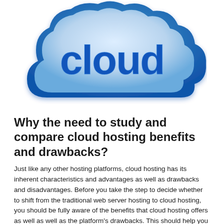[Figure (illustration): A stylized cloud logo icon with 'cloud' text in bold blue letters, gradient blue-to-white cloud shape with darker blue border outline]
Why the need to study and compare cloud hosting benefits and drawbacks?
Just like any other hosting platforms, cloud hosting has its inherent characteristics and advantages as well as drawbacks and disadvantages. Before you take the step to decide whether to shift from the traditional web server hosting to cloud hosting, you should be fully aware of the benefits that cloud hosting offers as well as well as the platform's drawbacks. This should help you make an intelligent decision regarding the type of web host that is well suited to the needs of your website